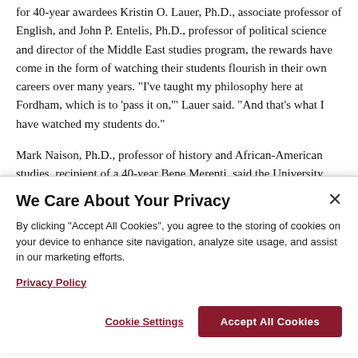for 40-year awardees Kristin O. Lauer, Ph.D., associate professor of English, and John P. Entelis, Ph.D., professor of political science and director of the Middle East studies program, the rewards have come in the form of watching their students flourish in their own careers over many years. "I've taught my philosophy here at Fordham, which is to 'pass it on,'" Lauer said. "And that's what I have watched my students do."
Mark Naison, Ph.D., professor of history and African-American studies, recipient of a 40-year Bene Merenti, said the University
We Care About Your Privacy
By clicking "Accept All Cookies", you agree to the storing of cookies on your device to enhance site navigation, analyze site usage, and assist in our marketing efforts.
Privacy Policy
Cookie Settings
Accept All Cookies